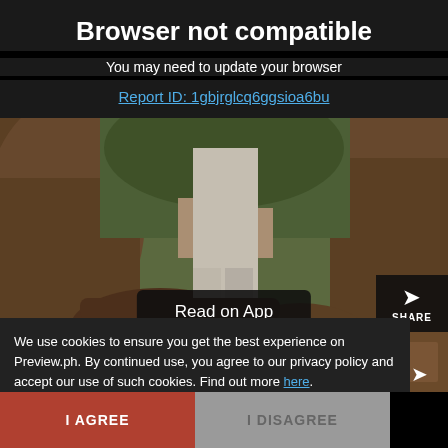Browser not compatible
You may need to update your browser
Report ID: 1gbjrglcq6ggsioa6bu
[Figure (photo): A person in a long white/cream coat standing among large tree trunks in a wooded area, with green foliage visible in background.]
Read on App
SHARE
We use cookies to ensure you get the best experience on Preview.ph. By continued use, you agree to our privacy policy and accept our use of such cookies. Find out more here.
I AGREE
I DISAGREE